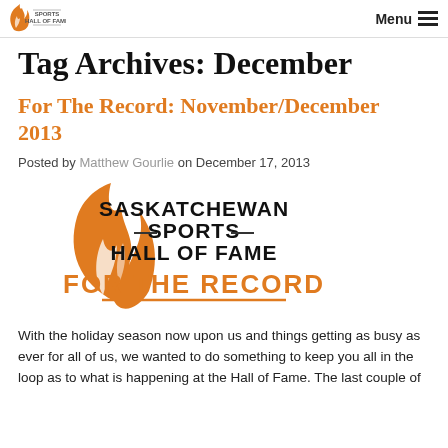Saskatchewan Sports Hall of Fame — Menu
Tag Archives: December
For The Record: November/December 2013
Posted by Matthew Gourlie on December 17, 2013
[Figure (logo): Saskatchewan Sports Hall of Fame logo with orange flame/shield icon and text 'SASKATCHEWAN SPORTS HALL OF FAME' and underline-accented orange text 'FOR THE RECORD']
With the holiday season now upon us and things getting as busy as ever for all of us, we wanted to do something to keep you all in the loop as to what is happening at the Hall of Fame. The last couple of